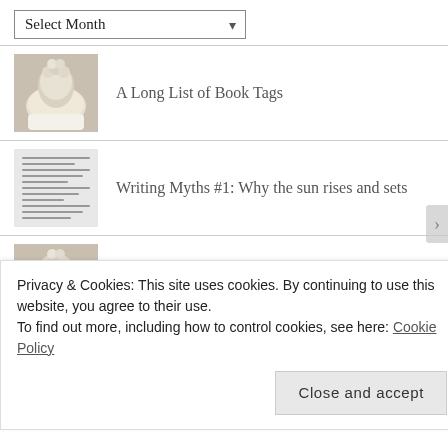[Figure (screenshot): Dropdown selector labeled 'Select Month' with a downward chevron arrow]
A Long List of Book Tags
Writing Myths #1: Why the sun rises and sets
Writing Myths #2: Why the leaves change color
Book Tags: Categories
Privacy & Cookies: This site uses cookies. By continuing to use this website, you agree to their use.
To find out more, including how to control cookies, see here: Cookie Policy
Close and accept